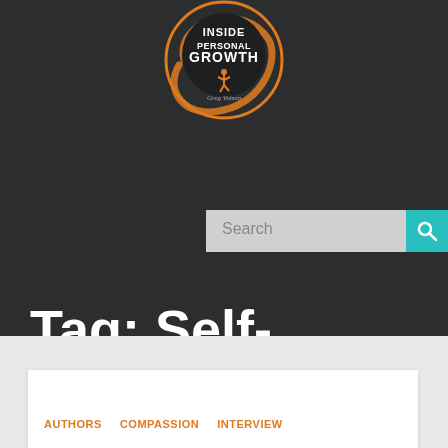[Figure (logo): Inside Personal Growth logo — circular badge with orange swirl, white text reading INSIDE PERSONAL GROWTH, and a jumping figure silhouette]
Tag: Self-Discovery
AUTHORS   COMPASSION   INTERVIEW